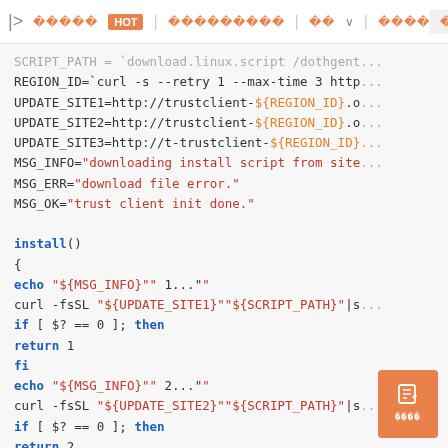| > 전체글 HOT | 커뮤니티홈 | 글쓰기 ∨ | 전체글 | 글쓰기
Code block showing shell script: SCRIPT_PATH, REGION_ID, UPDATE_SITE1, UPDATE_SITE2, UPDATE_SITE3, MSG_INFO, MSG_ERR, MSG_OK variables, then install() function with echo, curl, if/then/return/fi blocks